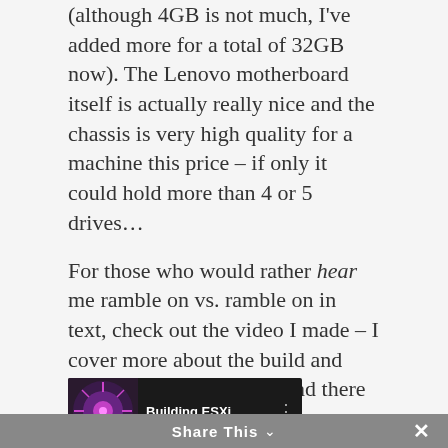(although 4GB is not much, I've added more for a total of 32GB now).  The Lenovo motherboard itself is actually really nice and the chassis is very high quality for a machine this price – if only it could hold more than 4 or 5 drives…
For those who would rather hear me ramble on vs. ramble on in text, check out the video I made – I cover more about the build and some minor details here and there in the video:
[Figure (screenshot): Video thumbnail showing 'Building ESXi...' with a purple mechanical/tech image and three-dot menu icon]
Share This ∨